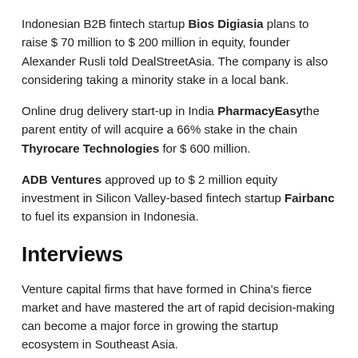Indonesian B2B fintech startup Bios Digiasia plans to raise $ 70 million to $ 200 million in equity, founder Alexander Rusli told DealStreetAsia. The company is also considering taking a minority stake in a local bank.
Online drug delivery start-up in India PharmacyEasy the parent entity of will acquire a 66% stake in the chain Thyrocare Technologies for $ 600 million.
ADB Ventures approved up to $ 2 million equity investment in Silicon Valley-based fintech startup Fairbanc to fuel its expansion in Indonesia.
Interviews
Venture capital firms that have formed in China's fierce market and have mastered the art of rapid decision-making can become a major force in growing the startup ecosystem in Southeast Asia.